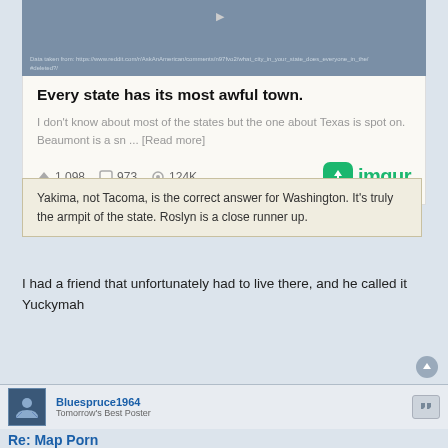[Figure (screenshot): Embedded imgur post preview showing a map with title 'Every state has its most awful town.' with 1,098 upvotes, 973 comments, 124K views and imgur logo]
Yakima, not Tacoma, is the correct answer for Washington. It's truly the armpit of the state. Roslyn is a close runner up.
I had a friend that unfortunately had to live there, and he called it Yuckymah
Bluespruce1964
Tomorrow's Best Poster
Re: Map Porn
#304  Thu May 05, 2022 9:44 pm